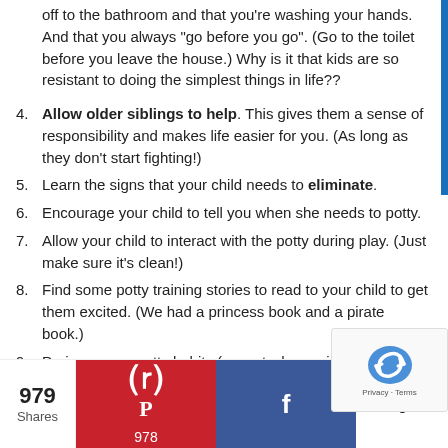off to the bathroom and that you're washing your hands. And that you always "go before you go". (Go to the toilet before you leave the house.) Why is it that kids are so resistant to doing the simplest things in life??
4. Allow older siblings to help. This gives them a sense of responsibility and makes life easier for you. (As long as they don't start fighting!)
5. Learn the signs that your child needs to eliminate.
6. Encourage your child to tell you when she needs to potty.
7. Allow your child to interact with the potty during play. (Just make sure it's clean!)
8. Find some potty training stories to read to your child to get them excited. (We had a princess book and a pirate book.)
9. Praise proper potty habits (except when using the Elimination Communication method);
me. Ag... d trying to do